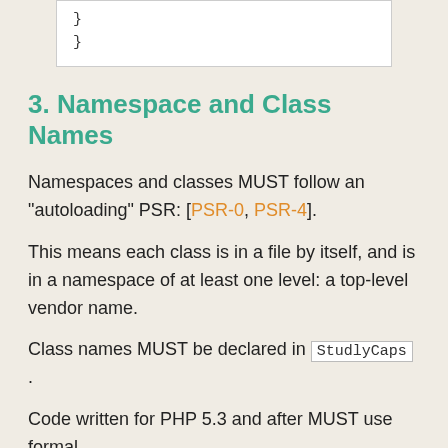}
}
3. Namespace and Class Names
Namespaces and classes MUST follow an "autoloading" PSR: [PSR-0, PSR-4].
This means each class is in a file by itself, and is in a namespace of at least one level: a top-level vendor name.
Class names MUST be declared in StudlyCaps .
Code written for PHP 5.3 and after MUST use formal